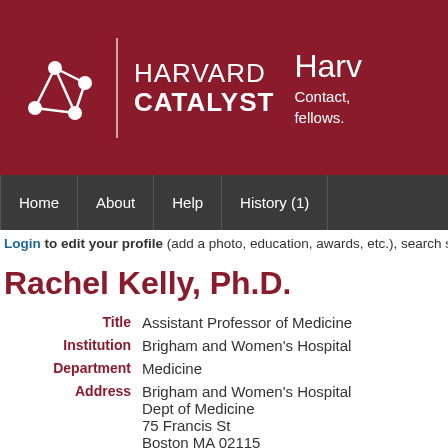[Figure (logo): Harvard Catalyst logo with network graph icon and text, plus partial Harvard contact text on right]
Home | About | Help | History (1)
Login to edit your profile (add a photo, education, awards, etc.), search s
Rachel Kelly, Ph.D.
| Field | Value |
| --- | --- |
| Title | Assistant Professor of Medicine |
| Institution | Brigham and Women's Hospital |
| Department | Medicine |
| Address | Brigham and Women's Hospital
Dept of Medicine
75 Francis St
Boston MA 02115 |
| Email | rkelly8@bwh.harvard.edu |